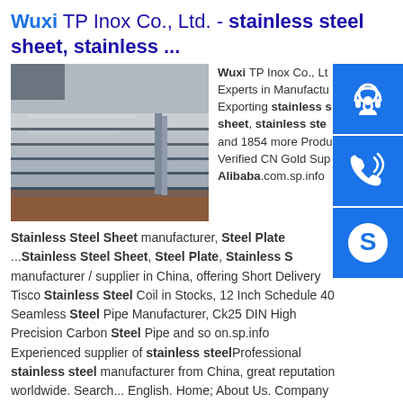Wuxi TP Inox Co., Ltd. - stainless steel sheet, stainless ...
[Figure (photo): Photo of stainless steel sheets stacked in a factory/warehouse setting]
Wuxi TP Inox Co., Ltd. Experts in Manufacturing and Exporting stainless steel sheet, stainless steel and 1854 more Products. Verified CN Gold Supplier on Alibaba.com.sp.info
Stainless Steel Sheet manufacturer, Steel Plate ...Stainless Steel Sheet, Steel Plate, Stainless S manufacturer / supplier in China, offering Short Delivery Tisco Stainless Steel Coil in Stocks, 12 Inch Schedule 40 Seamless Steel Pipe Manufacturer, Ck25 DIN High Precision Carbon Steel Pipe and so on.sp.info Experienced supplier of stainless steelProfessional stainless steel manufacturer from China, great reputation worldwide. Search... English. Home; About Us. Company